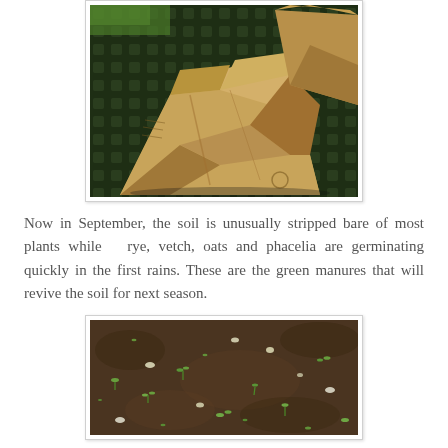[Figure (photo): Brown paper seed/compost bags lying on a dark green grid/mesh surface, with green grass visible in the background.]
Now in September, the soil is unusually stripped bare of most plants while  rye, vetch, oats and phacelia are germinating quickly in the first rains. These are the green manures that will revive the soil for next season.
[Figure (photo): Close-up of dark brown soil with small green seedlings just germinating, scattered across a bare garden bed.]